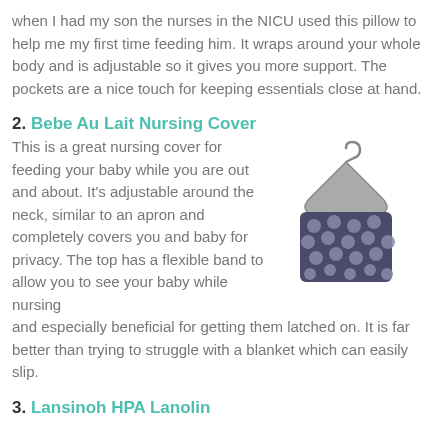when I had my son the nurses in the NICU used this pillow to help me my first time feeding him. It wraps around your whole body and is adjustable so it gives you more support. The pockets are a nice touch for keeping essentials close at hand.
2. Bebe Au Lait Nursing Cover
This is a great nursing cover for feeding your baby while you are out and about. It's adjustable around the neck, similar to an apron and completely covers you and baby for privacy. The top has a flexible band to allow you to see your baby while nursing and especially beneficial for getting them latched on. It is far better than trying to struggle with a blanket which can easily slip.
[Figure (photo): A nursing cover with a black and white polka dot pattern, hanging from a hanger.]
3. Lansinoh HPA Lanolin